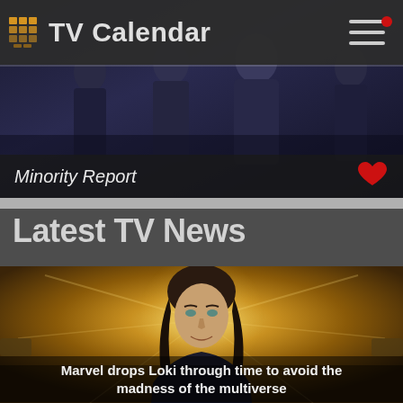TV Calendar
[Figure (screenshot): Banner image showing figures from TV show Minority Report in dark blue tones]
Minority Report
Latest TV News
[Figure (photo): Photo of actor playing Loki in golden/warm toned dramatic lighting]
Marvel drops Loki through time to avoid the madness of the multiverse